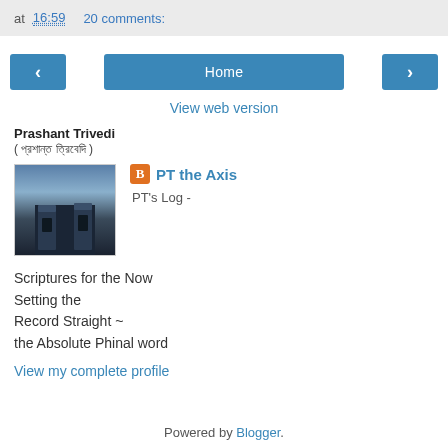at 16:59   20 comments:
[Figure (screenshot): Navigation bar with left arrow button, Home button, and right arrow button]
View web version
Prashant Trivedi
( প্রশান্ত ত্রিবেদি )
[Figure (photo): Profile photo of ruins against a sunset sky]
PT the Axis
PT's Log -
Scriptures for the Now
Setting the
Record Straight ~
the Absolute Phinal word
View my complete profile
Powered by Blogger.